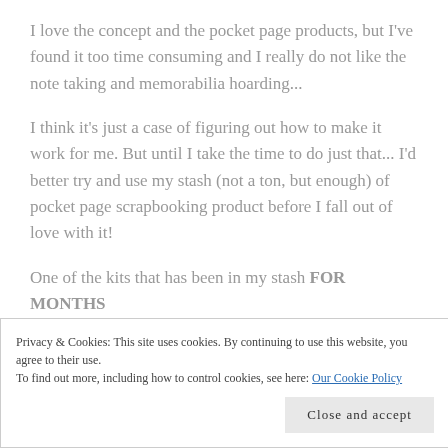I love the concept and the pocket page products, but I've found it too time consuming and I really do not like the note taking and memorabilia hoarding...
I think it's just a case of figuring out how to make it work for me. But until I take the time to do just that... I'd better try and use my stash (not a ton, but enough) of pocket page scrapbooking product before I fall out of love with it!
One of the kits that has been in my stash FOR MONTHS now is the beautiful Watercolors Project Life kit from
Privacy & Cookies: This site uses cookies. By continuing to use this website, you agree to their use.
To find out more, including how to control cookies, see here: Our Cookie Policy
Close and accept